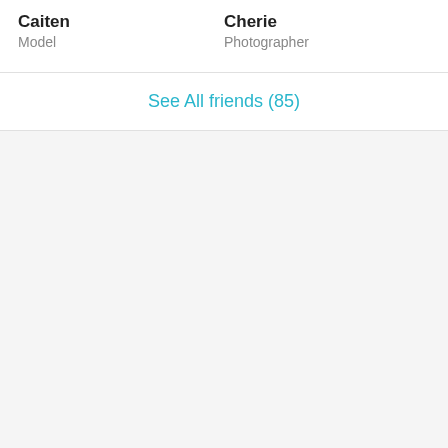Caiten
Model
Cherie
Photographer
See All friends (85)